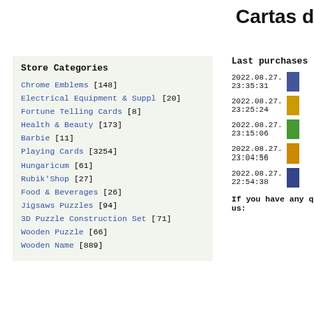Cartas d
Store Categories
Chrome Emblems [148]
Electrical Equipment & Suppl [20]
Fortune Telling Cards [8]
Health & Beauty [173]
Barbie [11]
Playing Cards [3254]
Hungaricum [61]
Rubik'Shop [27]
Food & Beverages [26]
Jigsaws Puzzles [94]
3D Puzzle Construction Set [71]
Wooden Puzzle [66]
Wooden Name [889]
Last purchases
2022.08.27. 23:35:31
2022.08.27. 23:25:24
2022.08.27. 23:15:06
2022.08.27. 23:04:56
2022.08.27. 22:54:38
If you have any questions, contact us: